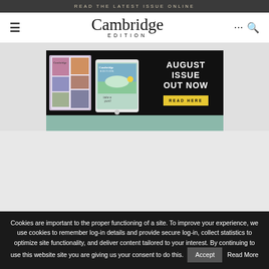READ THE LATEST ISSUE ONLINE
[Figure (logo): Cambridge Edition magazine logo with hamburger menu, ellipsis and search icons]
[Figure (screenshot): Advertisement banner for Cambridge Edition August Issue Out Now with Read Here button, showing magazine spread and tablet]
Cookies are important to the proper functioning of a site. To improve your experience, we use cookies to remember log-in details and provide secure log-in, collect statistics to optimize site functionality, and deliver content tailored to your interest. By continuing to use this website site you are giving us your consent to do this. Accept Read More